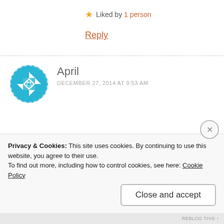Liked by 1 person
Reply
April
DECEMBER 27, 2014 AT 9:53 AM
Privacy & Cookies: This site uses cookies. By continuing to use this website, you agree to their use.
To find out more, including how to control cookies, see here: Cookie Policy
Close and accept